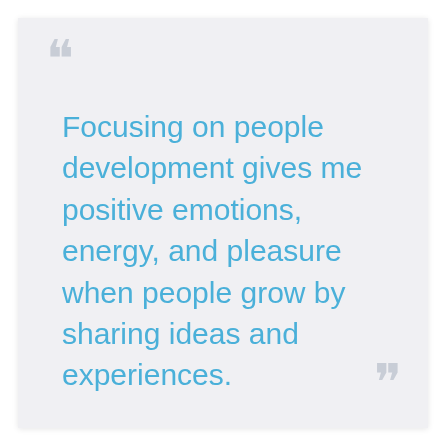Focusing on people development gives me positive emotions, energy, and pleasure when people grow by sharing ideas and experiences.